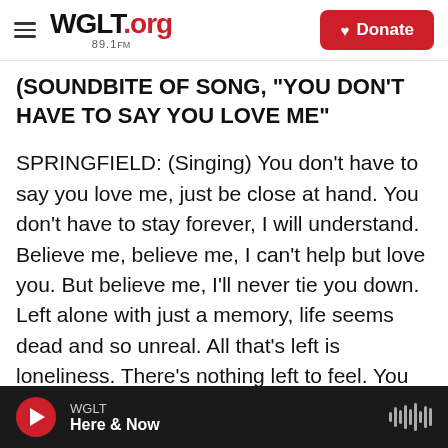WGLT.org 89.1FM — Donate
(SOUNDBITE OF SONG, "YOU DON'T HAVE TO SAY YOU LOVE ME"
SPRINGFIELD: (Singing) You don't have to say you love me, just be close at hand. You don't have to stay forever, I will understand. Believe me, believe me, I can't help but love you. But believe me, I'll never tie you down. Left alone with just a memory, life seems dead and so unreal. All that's left is loneliness. There's nothing left to feel. You don't have to say you love me, just be close at hand. You don't have to stay forever, I will understand. Believe me, believe me. You don't have to say you love me,
WGLT — Here & Now